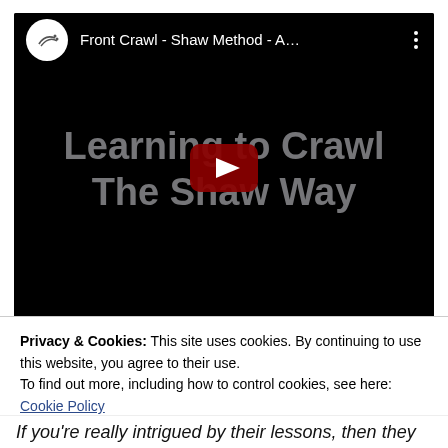[Figure (screenshot): YouTube video thumbnail for 'Front Crawl - Shaw Method - A...' showing the video title 'Learning to Crawl The Shaw Way' overlaid on a black background with a YouTube play button in the center.]
Privacy & Cookies: This site uses cookies. By continuing to use this website, you agree to their use.
To find out more, including how to control cookies, see here: Cookie Policy
Close and accept
If you're really intrigued by their lessons, then they